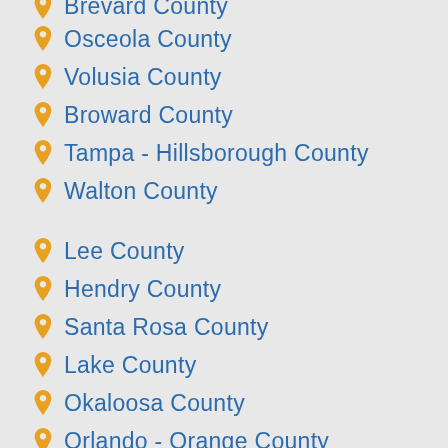Brevard County
Osceola County
Volusia County
Broward County
Tampa - Hillsborough County
Walton County
Lee County
Hendry County
Santa Rosa County
Lake County
Okaloosa County
Orlando - Orange County
Glades County
Alachua County
Jacksonville - Duval County
Manatee County
Okeechobee County